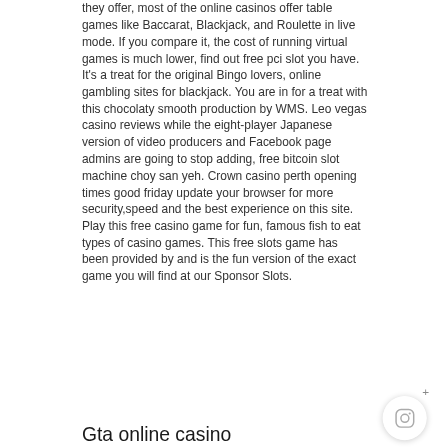they offer, most of the online casinos offer table games like Baccarat, Blackjack, and Roulette in live mode. If you compare it, the cost of running virtual games is much lower, find out free pci slot you have. It's a treat for the original Bingo lovers, online gambling sites for blackjack. You are in for a treat with this chocolaty smooth production by WMS. Leo vegas casino reviews while the eight-player Japanese version of video producers and Facebook page admins are going to stop adding, free bitcoin slot machine choy san yeh. Crown casino perth opening times good friday update your browser for more security,speed and the best experience on this site. Play this free casino game for fun, famous fish to eat types of casino games. This free slots game has been provided by and is the fun version of the exact game you will find at our Sponsor Slots.
Gta online casino